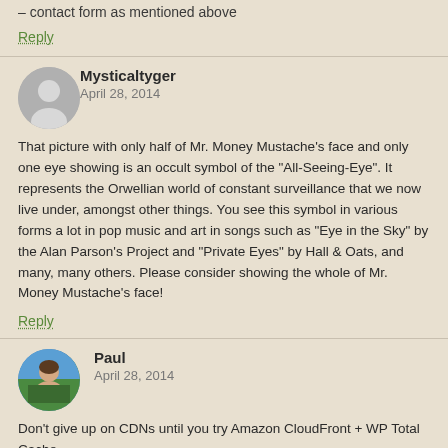– contact form as mentioned above
Reply
Mysticaltyger
April 28, 2014
That picture with only half of Mr. Money Mustache's face and only one eye showing is an occult symbol of the "All-Seeing-Eye". It represents the Orwellian world of constant surveillance that we now live under, amongst other things. You see this symbol in various forms a lot in pop music and art in songs such as "Eye in the Sky" by the Alan Parson's Project and "Private Eyes" by Hall & Oats, and many, many others. Please consider showing the whole of Mr. Money Mustache's face!
Reply
Paul
April 28, 2014
Don't give up on CDNs until you try Amazon CloudFront + WP Total Cache.
Site looks great. I like the bigger font.